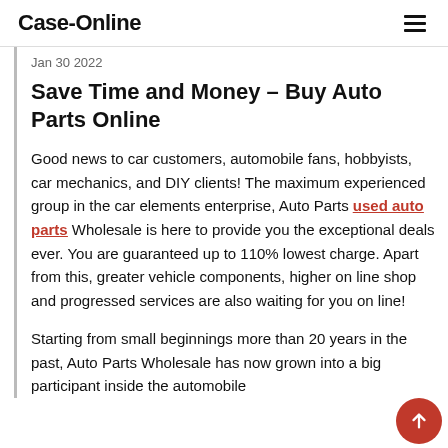Case-Online
Jan 30 2022
Save Time and Money – Buy Auto Parts Online
Good news to car customers, automobile fans, hobbyists, car mechanics, and DIY clients! The maximum experienced group in the car elements enterprise, Auto Parts used auto parts Wholesale is here to provide you the exceptional deals ever. You are guaranteed up to 110% lowest charge. Apart from this, greater vehicle components, higher on line shop and progressed services are also waiting for you on line!
Starting from small beginnings more than 20 years in the past, Auto Parts Wholesale has now grown into a big participant inside the automobile